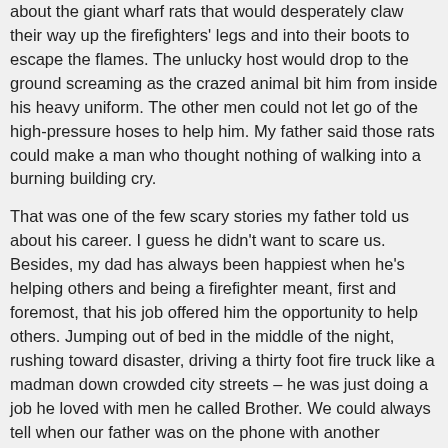about the giant wharf rats that would desperately claw their way up the firefighters' legs and into their boots to escape the flames. The unlucky host would drop to the ground screaming as the crazed animal bit him from inside his heavy uniform. The other men could not let go of the high-pressure hoses to help him. My father said those rats could make a man who thought nothing of walking into a burning building cry.
That was one of the few scary stories my father told us about his career. I guess he didn't want to scare us. Besides, my dad has always been happiest when he's helping others and being a firefighter meant, first and foremost, that his job offered him the opportunity to help others. Jumping out of bed in the middle of the night, rushing toward disaster, driving a thirty foot fire truck like a madman down crowded city streets – he was just doing a job he loved with men he called Brother. We could always tell when our father was on the phone with another firefighter because it was always Brother Somebody – Brother Feliciano or Brother Sherry or Brother O'Keefe. Pete had grown up without a telephone and to this day it is not a device he uses casually. He was always chasing one of my sisters or me off the phone. The fact that he would talk to a guy from the firehouse without reminding him that the phone was "for